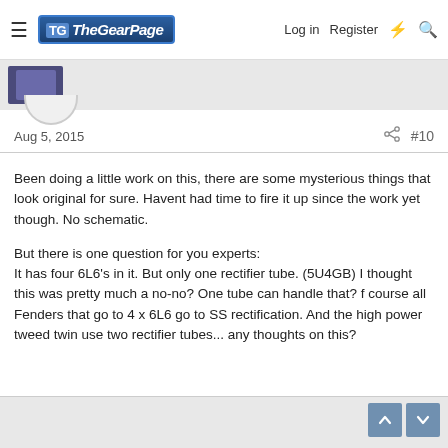The Gear Page — Log in  Register
Aug 5, 2015   #10
Been doing a little work on this, there are some mysterious things that look original for sure. Havent had time to fire it up since the work yet though. No schematic.

But there is one question for you experts:
It has four 6L6's in it. But only one rectifier tube. (5U4GB) I thought this was pretty much a no-no? One tube can handle that? f course all Fenders that go to 4 x 6L6 go to SS rectification. And the high power tweed twin use two rectifier tubes... any thoughts on this?